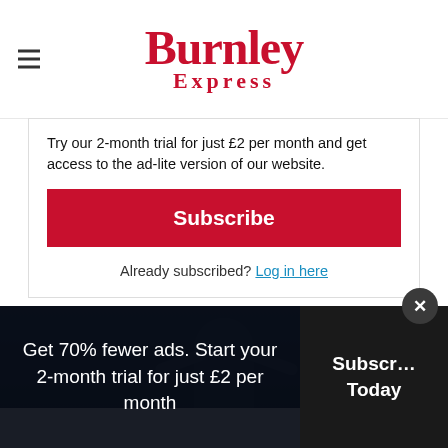Burnley Express
Try our 2-month trial for just £2 per month and get access to the ad-lite version of our website.
Subscribe
Already subscribed? Log in here
[Figure (photo): Sports photo showing an athlete with arms raised, dark blue background, with media player overlay icons]
Get 70% fewer ads. Start your 2-month trial for just £2 per month
Subscribe Today